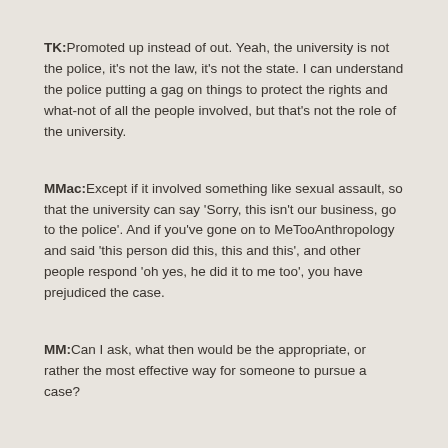TK: Promoted up instead of out.  Yeah, the university is not the police, it's not the law, it's not the state. I can understand the police putting a gag on things to protect the rights and what-not of all the people involved, but that's not the role of the university.
MMac: Except if it involved something like sexual assault, so that the university can say 'Sorry, this isn't our business, go to the police'. And if you've gone on to MeTooAnthropology and said 'this person did this, this and this', and other people respond 'oh yes, he did it to me too', you have prejudiced the case.
MM: Can I ask, what then would be the appropriate, or rather the most effective way for someone to pursue a case?